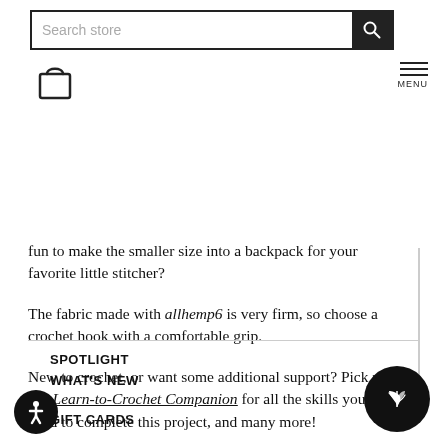Search store
[Figure (illustration): Shopping cart icon and hamburger menu icon with MENU label]
fun to make the smaller size into a backpack for your favorite little stitcher?
The fabric made with allhemp6 is very firm, so choose a crochet hook with a comfortable grip.
New to crochet, or want some additional support? Pick up our Learn-to-Crochet Companion for all the skills you'll need to complete this project, and many more!
SPOTLIGHT
WHAT'S NEW
GIFT CARDS
+ YARN